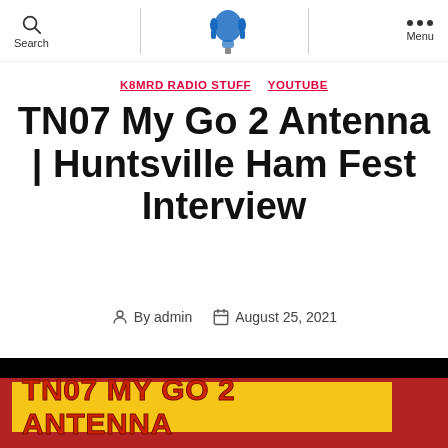Search | [Logo] | Menu
K8MRD RADIO STUFF  YOUTUBE
TN07 My Go 2 Antenna | Huntsville Ham Fest Interview
By admin  August 25, 2021
[Figure (screenshot): YouTube video thumbnail with yellow banner showing 'TN07 MY GO 2 ANTENNA' in red bold text on a yellow background, with a red background scene behind it. Black bar at top.]